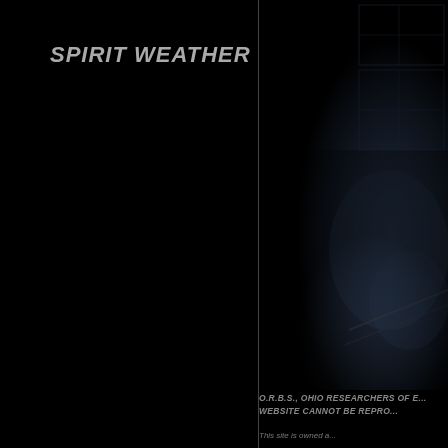SPIRIT WEATHER
[Figure (photo): Dark photograph on the right side of the page showing a dimly lit scene with shadowy architectural or indoor elements, mostly black with faint blue-grey tones]
O.R.B.S., OHIO RESEARCHERS OF E... WEBSITE CANNOT BE REPRO...
This site is owned a...